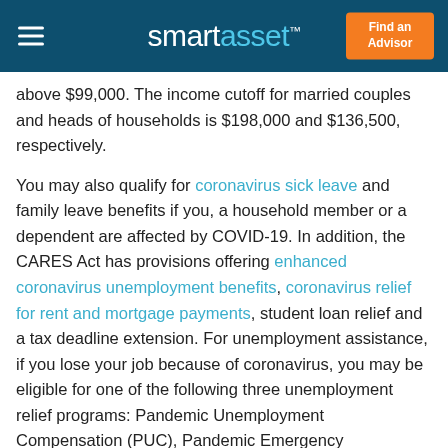smartasset™  Find an Advisor
above $99,000. The income cutoff for married couples and heads of households is $198,000 and $136,500, respectively.
You may also qualify for coronavirus sick leave and family leave benefits if you, a household member or a dependent are affected by COVID-19. In addition, the CARES Act has provisions offering enhanced coronavirus unemployment benefits, coronavirus relief for rent and mortgage payments, student loan relief and a tax deadline extension. For unemployment assistance, if you lose your job because of coronavirus, you may be eligible for one of the following three unemployment relief programs: Pandemic Unemployment Compensation (PUC), Pandemic Emergency Unemployment Compensation (PEUC) and Pandemic Unemployment Assistance (PUA).The unemployment benefit